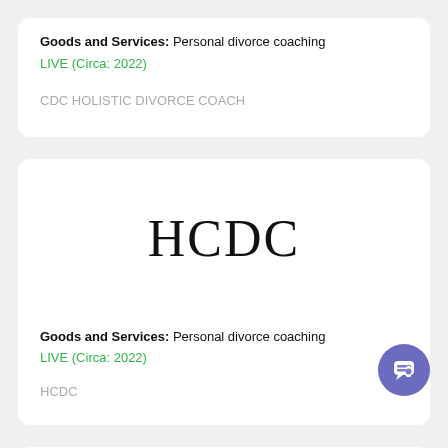Goods and Services: Personal divorce coaching
LIVE (Circa: 2022)
CDC HOLISTIC DIVORCE COACH
[Figure (logo): HCDC trademark logo text in large serif font]
Goods and Services: Personal divorce coaching
LIVE (Circa: 2022)
HCDC